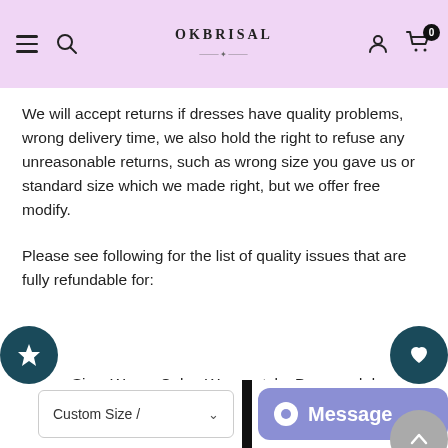OkBrisal header navigation
We will accept returns if dresses have quality problems, wrong delivery time, we also hold the right to refuse any unreasonable returns, such as wrong size you gave us or standard size which we made right, but we offer free modify.
Please see following for the list of quality issues that are fully refundable for:
Wrong Size, Wrong Color, Wrong style, Damaged dress- 100% Refund or remake one or return 50% payment to you, you keep the dress
In order for your return or exchange to be accepted, please carefully follow our guide: